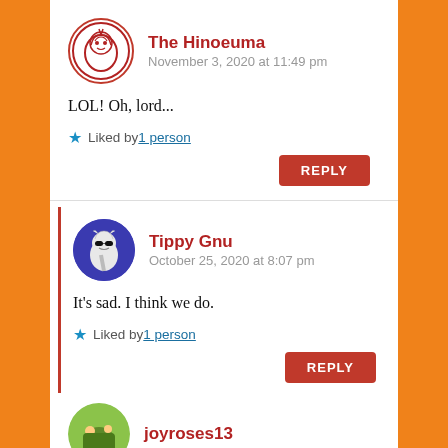The Hinoeuma
November 3, 2020 at 11:49 pm
LOL! Oh, lord...
Liked by 1 person
REPLY
Tippy Gnu
October 25, 2020 at 8:07 pm
It's sad. I think we do.
Liked by 1 person
REPLY
joyroses13